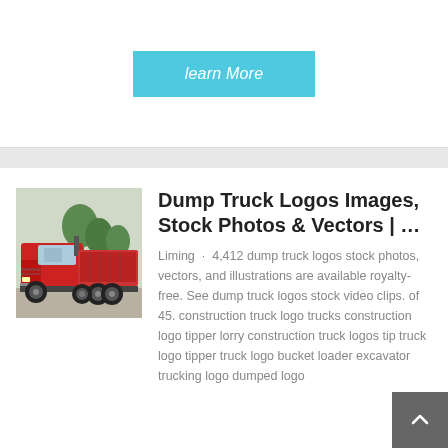learn More
[Figure (photo): Red dump truck / semi-truck cab photographed from the side in a lot]
Dump Truck Logos Images, Stock Photos & Vectors | …
Liming · 4,412 dump truck logos stock photos, vectors, and illustrations are available royalty-free. See dump truck logos stock video clips. of 45. construction truck logo trucks construction logo tipper lorry construction truck logos tip truck logo tipper truck logo bucket loader excavator trucking logo dumped logo